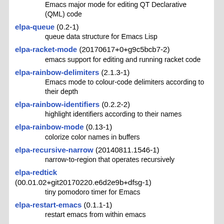(continuation) Emacs major mode for editing QT Declarative (QML) code
elpa-queue (0.2-1)
    queue data structure for Emacs Lisp
elpa-racket-mode (20170617+0+g9c5bcb7-2)
    emacs support for editing and running racket code
elpa-rainbow-delimiters (2.1.3-1)
    Emacs mode to colour-code delimiters according to their depth
elpa-rainbow-identifiers (0.2.2-2)
    highlight identifiers according to their names
elpa-rainbow-mode (0.13-1)
    colorize color names in buffers
elpa-recursive-narrow (20140811.1546-1)
    narrow-to-region that operates recursively
elpa-redtick (00.01.02+git20170220.e6d2e9b+dfsg-1)
    tiny pomodoro timer for Emacs
elpa-restart-emacs (0.1.1-1)
    restart emacs from within emacs
elpa-rich-minority (1.0.2-1)
    clean-up and beautify the list of minor-modes in Emacs' mode-line
elpa-s (1.12.0-1)
    String manipulation library for Emacs
elpa-seq (2.20-1)